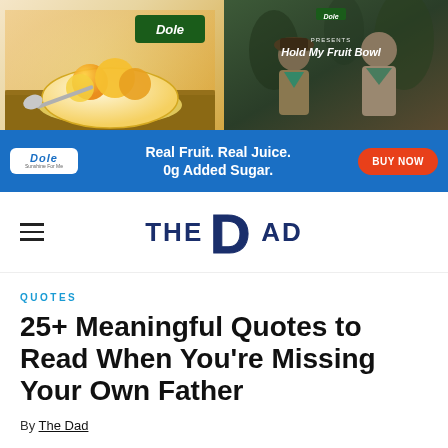[Figure (photo): Dole advertisement banner showing fruit bowls on left and Boy Scouts on right, with blue banner reading 'Real Fruit. Real Juice. 0g Added Sugar.' and BUY NOW button]
THE DAD
QUOTES
25+ Meaningful Quotes to Read When You're Missing Your Own Father
By The Dad